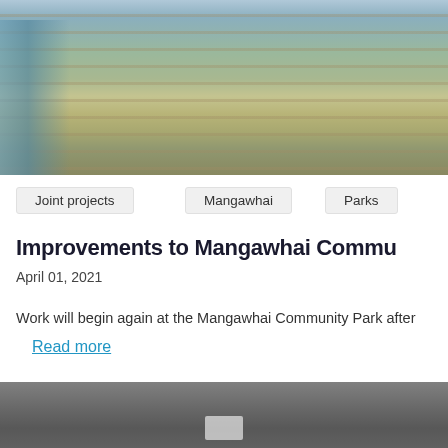[Figure (photo): Outdoor photo showing a wire fence with logs and vegetation in the background, partially cut off on the right side. A decorative element is visible on the left.]
Joint projects
Mangawhai
Parks
Improvements to Mangawhai Commu...
April 01, 2021
Work will begin again at the Mangawhai Community Park after
Read more
[Figure (photo): Bottom of page photo showing a dark grey surface, possibly a road or pavement, with a white marking visible near the center bottom.]